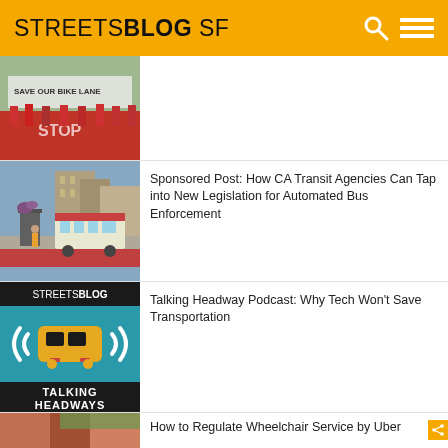STREETSBLOG SF
[Figure (photo): Protest march with people holding a banner reading 'SAVE OUR BIKE LANE' painted on road]
[Figure (photo): City street scene with a bus at a transit stop, red bus lane visible]
Sponsored Post: How CA Transit Agencies Can Tap into New Legislation for Automated Bus Enforcement
[Figure (logo): Talking Headways podcast logo — StreetsBlog branding with tram/streetcar icon on teal background]
Talking Headway Podcast: Why Tech Won't Save Transportation
[Figure (photo): Partial photo of a building exterior with greenery]
How to Regulate Wheelchair Service by Uber